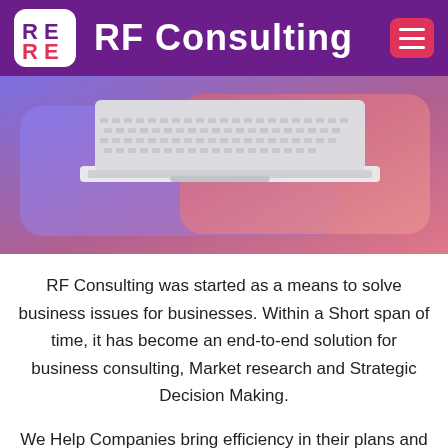RF Consulting
[Figure (photo): A white laptop computer on a purple-to-pink gradient background, viewed from a low angle showing the keyboard.]
RF Consulting was started as a means to solve business issues for businesses. Within a Short span of time, it has become an end-to-end solution for business consulting, Market research and Strategic Decision Making.
We Help Companies bring efficiency in their plans and create comprehensive execution strategies for them implement.